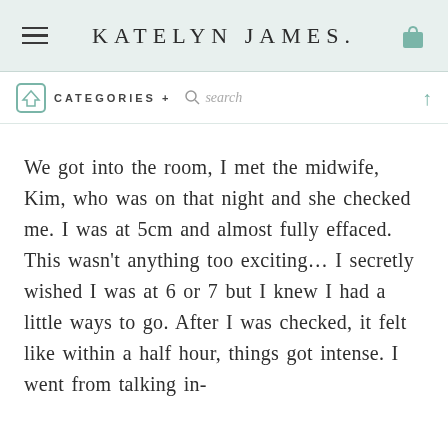KATELYN JAMES.
CATEGORIES + search
We got into the room, I met the midwife, Kim, who was on that night and she checked me. I was at 5cm and almost fully effaced. This wasn't anything too exciting… I secretly wished I was at 6 or 7 but I knew I had a little ways to go. After I was checked, it felt like within a half hour, things got intense. I went from talking in-